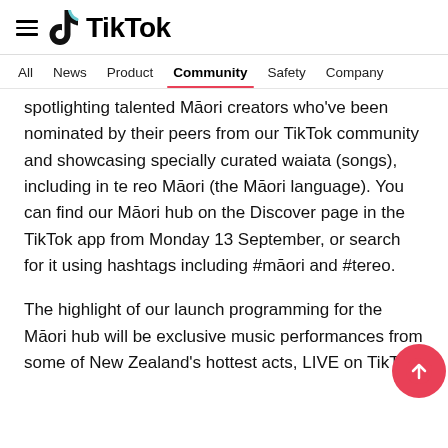TikTok
All  News  Product  Community  Safety  Company
spotlighting talented Māori creators who've been nominated by their peers from our TikTok community and showcasing specially curated waiata (songs), including in te reo Māori (the Māori language). You can find our Māori hub on the Discover page in the TikTok app from Monday 13 September, or search for it using hashtags including #māori and #tereo.
The highlight of our launch programming for the Māori hub will be exclusive music performances from some of New Zealand's hottest acts, LIVE on TikTok,